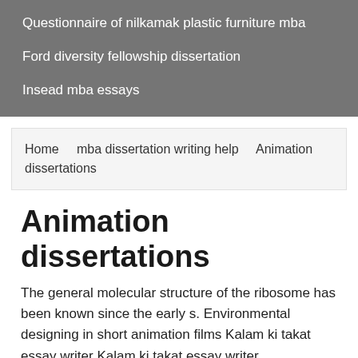Questionnaire of nilkamak plastic furniture mba
Ford diversity fellowship dissertation
Insead mba essays
Home   mba dissertation writing help   Animation dissertations
Animation dissertations
The general molecular structure of the ribosome has been known since the early s. Environmental designing in short animation films Kalam ki takat essay writer Kalam ki takat essay writer.
This two-week program pairs five composers with a well-